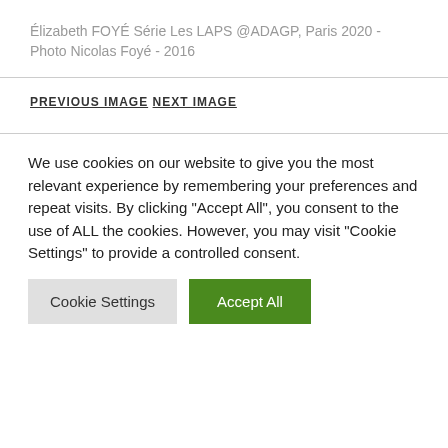Élizabeth FOYÉ Série Les LAPS @ADAGP, Paris 2020 - Photo Nicolas Foyé - 2016
PREVIOUS IMAGE
NEXT IMAGE
We use cookies on our website to give you the most relevant experience by remembering your preferences and repeat visits. By clicking "Accept All", you consent to the use of ALL the cookies. However, you may visit "Cookie Settings" to provide a controlled consent.